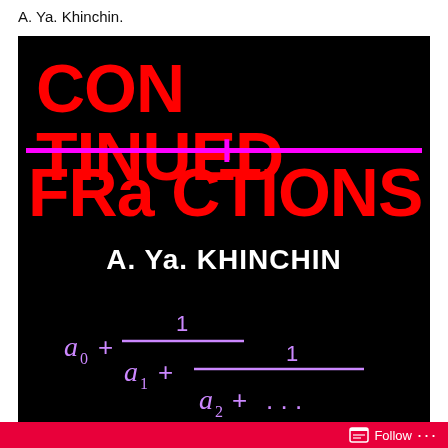A. Ya. Khinchin.
[Figure (illustration): Book cover of 'Continued Fractions' by A. Ya. Khinchin. Black background with large red bold text reading 'CONTINUED' on top line and 'FRACTIONS' on bottom line, separated by a magenta horizontal line with a magenta plus sign. Author name 'A. Ya. KHINCHIN' in white below the title. A continued fraction formula shown in magenta/white: a_0 + 1/(a_1 + 1/(a_2 + ...))]
Follow